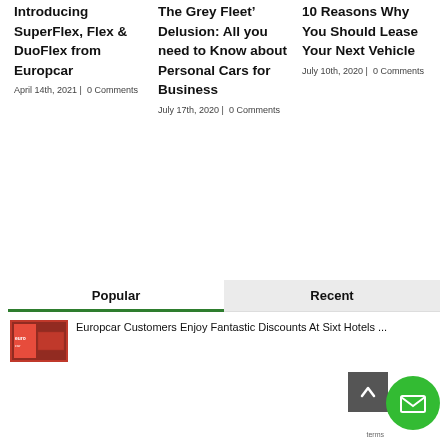Introducing SuperFlex, Flex & DuoFlex from Europcar
April 14th, 2021 |  0 Comments
The Grey Fleet' Delusion: All you need to Know about Personal Cars for Business
July 17th, 2020 |  0 Comments
10 Reasons Why You Should Lease Your Next Vehicle
July 10th, 2020 |  0 Comments
Popular
Recent
Europcar Customers Enjoy Fantastic Discounts At Sixt Hotels ...